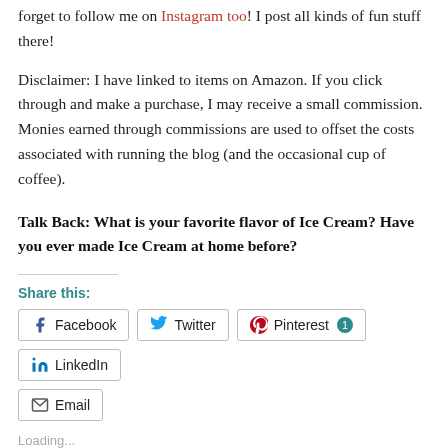forget to follow me on Instagram too! I post all kinds of fun stuff there!
Disclaimer: I have linked to items on Amazon. If you click through and make a purchase, I may receive a small commission. Monies earned through commissions are used to offset the costs associated with running the blog (and the occasional cup of coffee).
Talk Back: What is your favorite flavor of Ice Cream? Have you ever made Ice Cream at home before?
Share this:
Facebook | Twitter | Pinterest 1 | LinkedIn | Email
Loading...